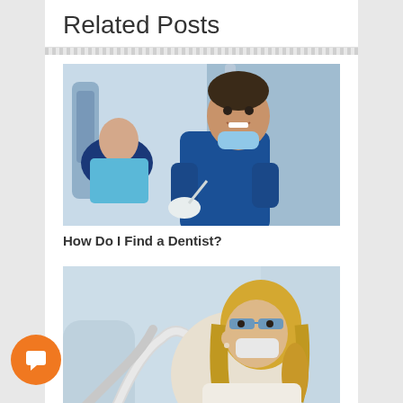Related Posts
[Figure (photo): A smiling male dentist in blue scrubs with a surgical mask pulled down, holding dental tools, with a patient in the dental chair in a dental clinic setting.]
How Do I Find a Dentist?
[Figure (photo): A female dentist or dental hygienist wearing safety glasses and a surgical mask, with blond hair, leaning over and working on a patient in a dental clinic setting.]
Gender Pay Gap in Dentistry